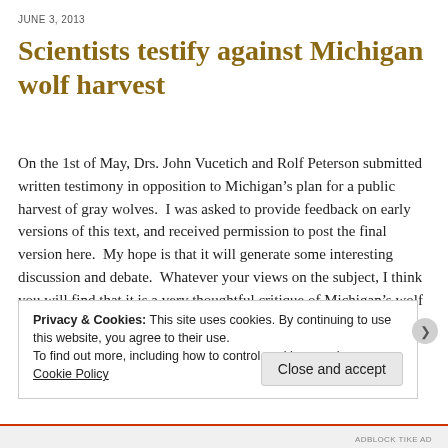JUNE 3, 2013
Scientists testify against Michigan wolf harvest
On the 1st of May, Drs. John Vucetich and Rolf Peterson submitted written testimony in opposition to Michigan’s plan for a public harvest of gray wolves.  I was asked to provide feedback on early versions of this text, and received permission to post the final version here.  My hope is that it will generate some interesting discussion and debate.  Whatever your views on the subject, I think you will find that it is a very thoughtful critique of Michigan’s wolf management plan.
Privacy & Cookies: This site uses cookies. By continuing to use this website, you agree to their use.
To find out more, including how to control cookies, see here: Cookie Policy